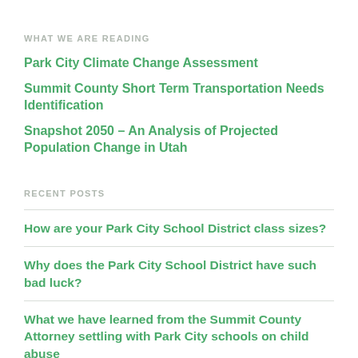WHAT WE ARE READING
Park City Climate Change Assessment
Summit County Short Term Transportation Needs Identification
Snapshot 2050 – An Analysis of Projected Population Change in Utah
RECENT POSTS
How are your Park City School District class sizes?
Why does the Park City School District have such bad luck?
What we have learned from the Summit County Attorney settling with Park City schools on child abuse
More horrific allegations are levied against Park